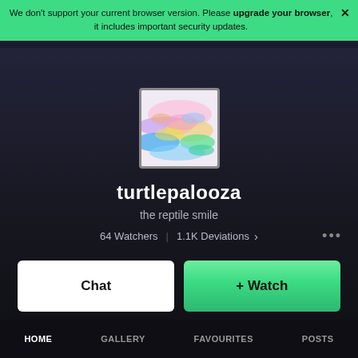We don't support your current browser version. Please upgrade your browser, it includes important security updates.
[Figure (illustration): Colorful abstract avatar image with pink, blue, green, and yellow brushstroke-like colors on a white square background]
turtlepalooza
the reptile smile
64 Watchers | 1.1K Deviations >
Chat
+ Watch
HOME   GALLERY   FAVOURITES   POSTS